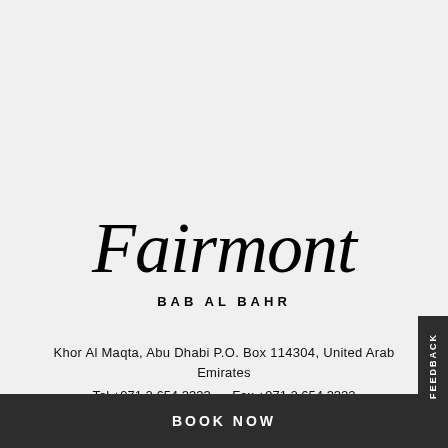[Figure (logo): Fairmont Bab Al Bahr hotel logo — cursive script 'Fairmont' above small caps text 'BAB AL BAHR']
Khor Al Maqta, Abu Dhabi P.O. Box 114304, United Arab Emirates
Tel +971 2 654 3333      Fax +971 2 654 3322
BOOK NOW